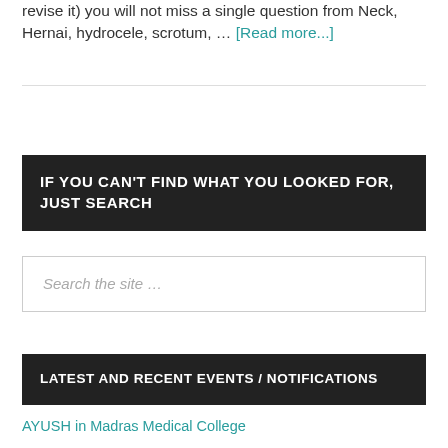revise it) you will not miss a single question from Neck, Hernai, hydrocele, scrotum, … [Read more...]
IF YOU CAN'T FIND WHAT YOU LOOKED FOR, JUST SEARCH
Search the site …
LATEST AND RECENT EVENTS / NOTIFICATIONS
AYUSH in Madras Medical College